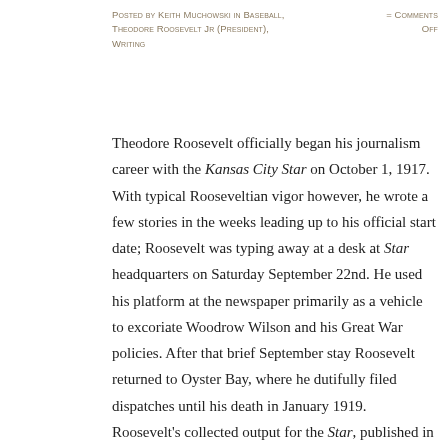Posted by Keith Muchowski in Baseball, Theodore Roosevelt Jr (President), Writing = Comments Off
Theodore Roosevelt officially began his journalism career with the Kansas City Star on October 1, 1917. With typical Rooseveltian vigor however, he wrote a few stories in the weeks leading up to his official start date; Roosevelt was typing away at a desk at Star headquarters on Saturday September 22nd. He used his platform at the newspaper primarily as a vehicle to excoriate Woodrow Wilson and his Great War policies. After that brief September stay Roosevelt returned to Oyster Bay, where he dutifully filed dispatches until his death in January 1919. Roosevelt's collected output for the Star, published in book form in 1921, runs 295 pages.
A few weeks after Roosevelt's debut with the Star another cub reporter joined the staff: Ernest